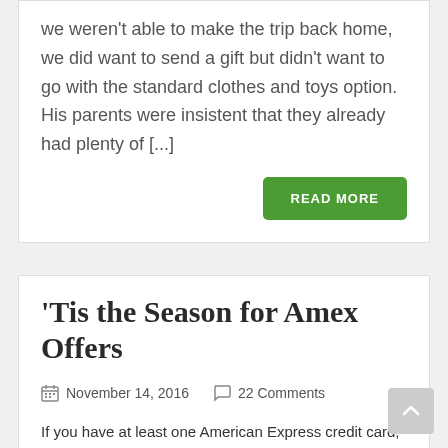we weren't able to make the trip back home, we did want to send a gift but didn't want to go with the standard clothes and toys option.  His parents were insistent that they already had plenty of [...]
READ MORE
'Tis the Season for Amex Offers
November 14, 2016  22 Comments
If you have at least one American Express credit card, this is the time of year you'll want to be sure to pay